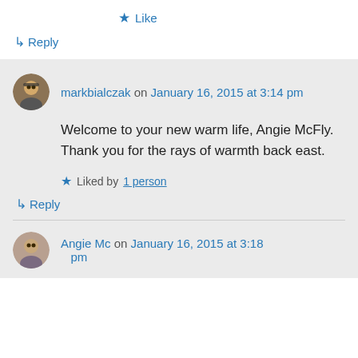★ Like
↳ Reply
markbialczak on January 16, 2015 at 3:14 pm
Welcome to your new warm life, Angie McFly. Thank you for the rays of warmth back east.
★ Liked by 1 person
↳ Reply
Angie Mc on January 16, 2015 at 3:18 pm